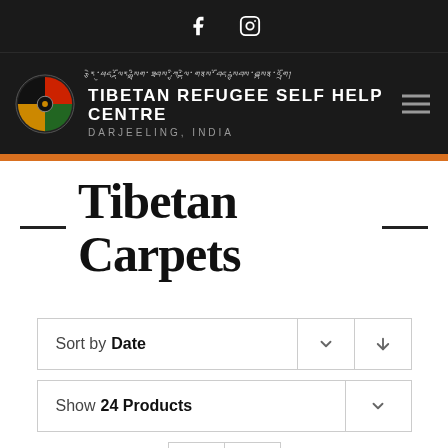Facebook | Instagram (social icons)
[Figure (logo): Tibetan Refugee Self Help Centre logo with circular yin-yang style emblem in red, green, yellow and Tibetan script above organization name TIBETAN REFUGEE SELF HELP CENTRE DARJEELING, INDIA on dark background]
Tibetan Carpets
Sort by Date
Show 24 Products